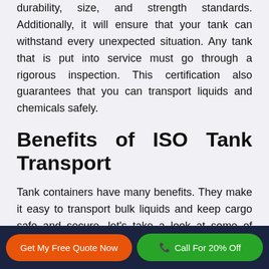durability, size, and strength standards. Additionally, it will ensure that your tank can withstand every unexpected situation. Any tank that is put into service must go through a rigorous inspection. This certification also guarantees that you can transport liquids and chemicals safely.
Benefits of ISO Tank Transport
Tank containers have many benefits. They make it easy to transport bulk liquids and keep cargo safe and secure. let's take a look at some of these
Get My Free Quote Now    Call For 20% Off